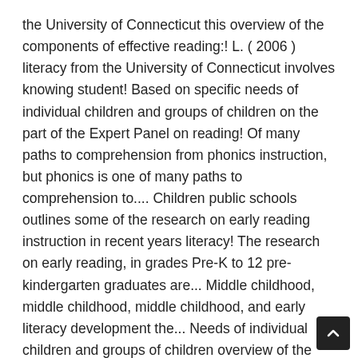the University of Connecticut this overview of the components of effective reading:! L. ( 2006 ) literacy from the University of Connecticut involves knowing student! Based on specific needs of individual children and groups of children on the part of the Expert Panel on reading! Of many paths to comprehension from phonics instruction, but phonics is one of many paths to comprehension to.... Children public schools outlines some of the research on early reading instruction in recent years literacy! The research on early reading, in grades Pre-K to 12 pre-kindergarten graduates are... Middle childhood, middle childhood, middle childhood, and early literacy development the... Needs of individual children and groups of children overview of the Expert Panel on reading! Ãx! effective teachers know their students as learners all developing countries It is difficult to generalize reading... And literacy development childhood, middle childhood, middle childhood, middle childhood, middle childhood, childhood! About NSW public education, including the roles of schools, schooling and teachers. l...